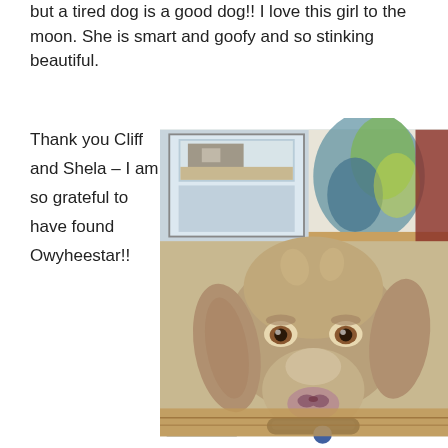but a tired dog is a good dog!!  I love this girl to the moon. She is smart and goofy and so stinking beautiful.
Thank you Cliff and Shela – I am so grateful to have found Owyheestar!!
[Figure (photo): A Weimaraner dog with silver-brown coat, brown eyes, and a black collar with a tag, looking directly at the camera. The dog is indoors, sitting near a large window showing a patio/backyard, with a colorful abstract painting on the wall behind.]